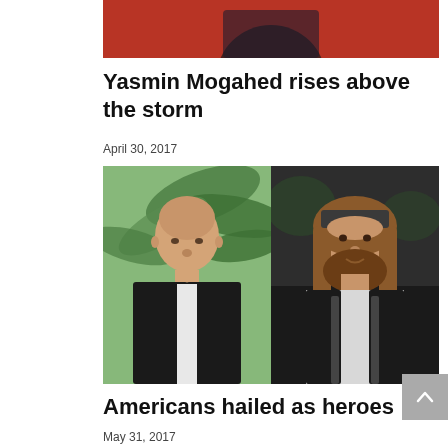[Figure (photo): Partial top photo showing a person seated, reading a book, with red/orange background visible]
Yasmin Mogahed rises above the storm
April 30, 2017
[Figure (photo): Two side-by-side photos: left shows a bald man in a dark suit with a tie in front of palm trees; right shows a man with long hair and a beard wearing a white shirt and dark vest]
Americans hailed as heroes
May 31, 2017